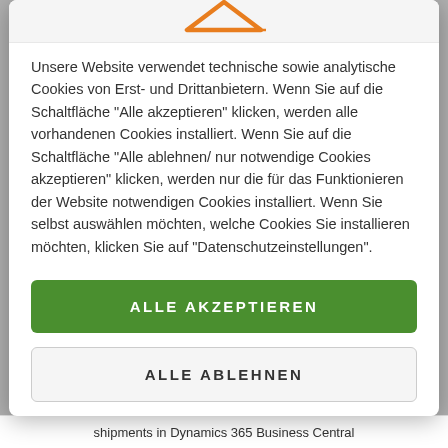[Figure (illustration): Partial orange icon visible at the top of the cookie consent modal]
Unsere Website verwendet technische sowie analytische Cookies von Erst- und Drittanbietern. Wenn Sie auf die Schaltfläche "Alle akzeptieren" klicken, werden alle vorhandenen Cookies installiert. Wenn Sie auf die Schaltfläche "Alle ablehnen/ nur notwendige Cookies akzeptieren" klicken, werden nur die für das Funktionieren der Website notwendigen Cookies installiert. Wenn Sie selbst auswählen möchten, welche Cookies Sie installieren möchten, klicken Sie auf "Datenschutzeinstellungen".
ALLE AKZEPTIEREN
ALLE ABLEHNEN
PRIVATSPHÄRE-EINSTELLUNGEN
shipments in Dynamics 365 Business Central